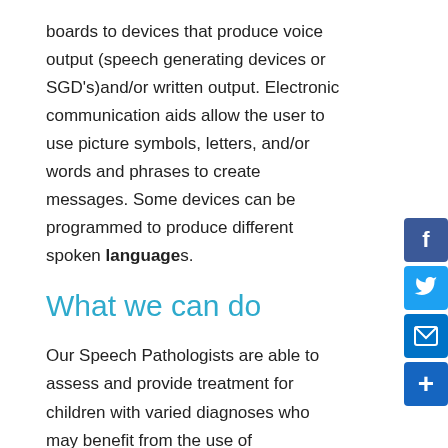boards to devices that produce voice output (speech generating devices or SGD's)and/or written output. Electronic communication aids allow the user to use picture symbols, letters, and/or words and phrases to create messages. Some devices can be programmed to produce different spoken languages.
What we can do
Our Speech Pathologists are able to assess and provide treatment for children with varied diagnoses who may benefit from the use of augmentative communication which will provide them with or improve their communication. Our Speech Pathologists are experienced at using a variety of augmentative and alternate communication devices and methods. Using augmentative or alternative communication can often be an exciting time for children/adolescents and